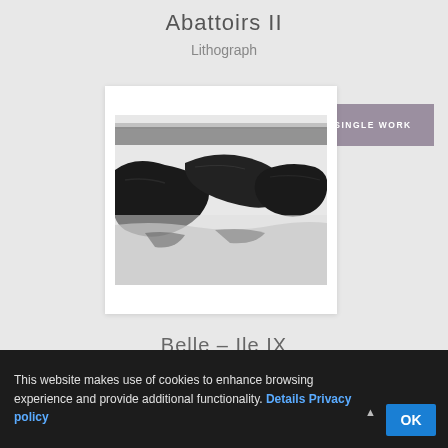Abattoirs II
Lithograph
SINGLE WORK
[Figure (photo): Black and white lithograph artwork showing abstract dark shapes against a white background, resembling landscape or animal forms]
Belle – Ile IX
This website makes use of cookies to enhance browsing experience and provide additional functionality. Details Privacy policy